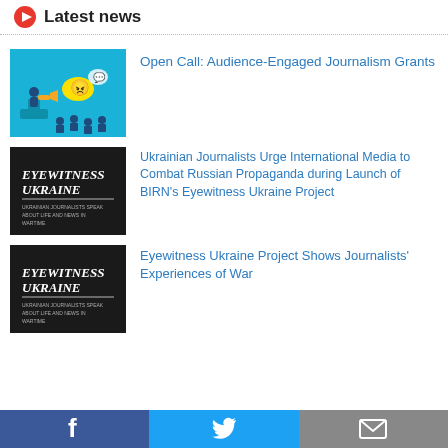Latest news
[Figure (illustration): Cartoon illustration of a speaker on a podium addressing a crowd, with speech and emoji bubbles, teal/blue background — Open Call: Audience-Engaged Journalism Grants]
Open Call: Audience-Engaged Journalism Grants
[Figure (illustration): Dark cover image with white text: EYEWITNESS UKRAINE — Ukrainian journalists speak about life and news in wartime]
Ukrainian Journalists Urge International Media to Combat Russian Propaganda during Launch of BIRN's Eyewitness Ukraine Project
[Figure (illustration): Dark cover image with white text: EYEWITNESS UKRAINE — Ukrainian journalists speak about life and news in wartime]
Eyewitness Ukraine Project Shows Journalists' Experiences of War